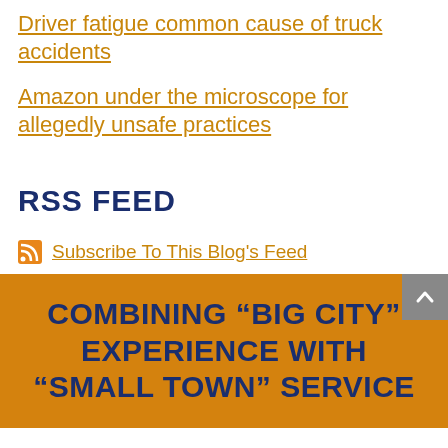Driver fatigue common cause of truck accidents
Amazon under the microscope for allegedly unsafe practices
RSS FEED
Subscribe To This Blog's Feed
COMBINING “BIG CITY” EXPERIENCE WITH “SMALL TOWN” SERVICE